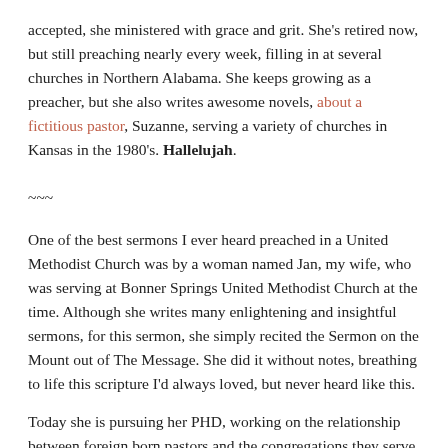accepted, she ministered with grace and grit. She's retired now, but still preaching nearly every week, filling in at several churches in Northern Alabama. She keeps growing as a preacher, but she also writes awesome novels, about a fictitious pastor, Suzanne, serving a variety of churches in Kansas in the 1980's. Hallelujah.
~~~
One of the best sermons I ever heard preached in a United Methodist Church was by a woman named Jan, my wife, who was serving at Bonner Springs United Methodist Church at the time. Although she writes many enlightening and insightful sermons, for this sermon, she simply recited the Sermon on the Mount out of The Message. She did it without notes, breathing to life this scripture I'd always loved, but never heard like this.
Today she is pursuing her PHD, working on the relationship between foreign born pastors and the congregations they serve in the Great Plains Annual Conference. Along the way, she teaches sociology to